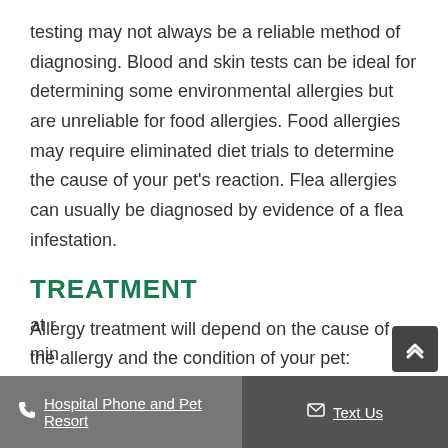testing may not always be a reliable method of diagnosing. Blood and skin tests can be ideal for determining some environmental allergies but are unreliable for food allergies. Food allergies may require eliminated diet trials to determine the cause of your pet's reaction. Flea allergies can usually be diagnosed by evidence of a flea infestation.
TREATMENT
Allergy treatment will depend on the cause of the allergy and the condition of your pet:
Hospital Phone and Pet Resort   Text Us